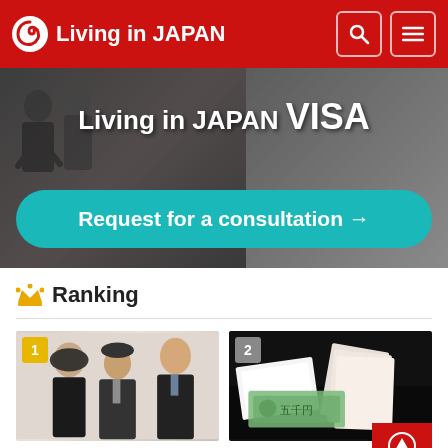Living in JAPAN
[Figure (screenshot): Banner image showing Living in JAPAN VISA with a Request for a consultation button]
Ranking
[Figure (photo): Rank 1 card: group of three business people in suits smiling]
Things to know: Company positions and rank
[Figure (photo): Rank 2 card: Japanese yen banknotes with envelopes, funeral money (kouden)]
Funeral Manner~Obituary Money ('kouden')